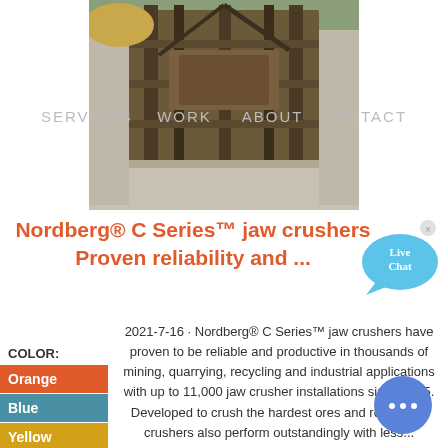[Figure (photo): Industrial jaw crusher machine photographed outdoors with construction equipment visible]
SERVICES   WORK   ABOUT   CONTACT
Nordberg® C Series™ jaw crushers
Proven reliability and ...
[Figure (illustration): Live Chat speech bubble icon with close button]
COLOR:
Orange
Blue
Yellow
2021-7-16 · Nordberg® C Series™ jaw crushers have proven to be reliable and productive in thousands of mining, quarrying, recycling and industrial applications with up to 11,000 jaw crusher installations since 1975. Developed to crush the hardest ores and rocks, jaw crushers also perform outstandingly with less...
[Figure (illustration): Blue circular chat button with three dots]